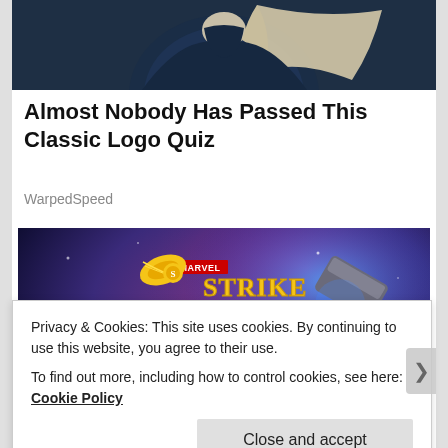[Figure (photo): Partial view of a figure in a dark navy costume with a cream/ivory flowing cape, cropped at the top of the page.]
Almost Nobody Has Passed This Classic Logo Quiz
WarpedSpeed
[Figure (photo): Marvel Strike Force game advertisement showing a female Thor character raising a lightning hammer. Text reads 'MARVEL STRIKE FORCE' and 'THERE MUST ALWAYS' on a purple/blue cosmic background.]
Privacy & Cookies: This site uses cookies. By continuing to use this website, you agree to their use.
To find out more, including how to control cookies, see here: Cookie Policy
Close and accept